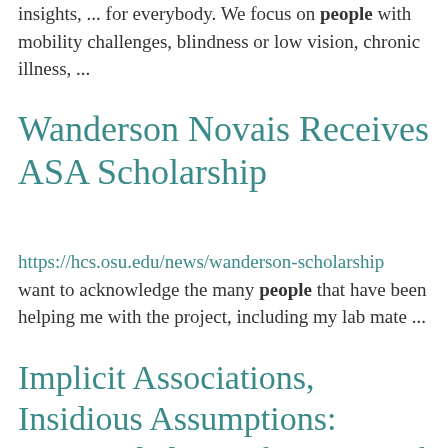insights, ... for everybody. We focus on people with mobility challenges, blindness or low vision, chronic illness, ...
Wanderson Novais Receives ASA Scholarship
https://hcs.osu.edu/news/wanderson-scholarship want to acknowledge the many people that have been helping me with the project, including my lab mate ...
Implicit Associations, Insidious Assumptions: Unintended Manifestations of Bias in Everyday